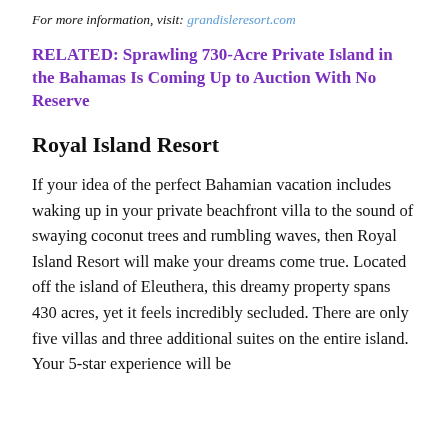For more information, visit: grandisleresort.com
RELATED: Sprawling 730-Acre Private Island in the Bahamas Is Coming Up to Auction With No Reserve
Royal Island Resort
If your idea of the perfect Bahamian vacation includes waking up in your private beachfront villa to the sound of swaying coconut trees and rumbling waves, then Royal Island Resort will make your dreams come true. Located off the island of Eleuthera, this dreamy property spans 430 acres, yet it feels incredibly secluded. There are only five villas and three additional suites on the entire island. Your 5-star experience will be complemented by a private family of a